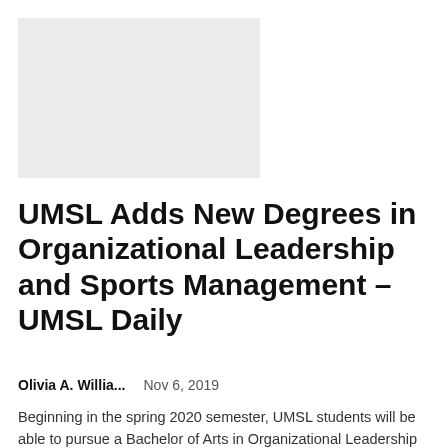[Figure (photo): Gray placeholder image block at top left of the page]
UMSL Adds New Degrees in Organizational Leadership and Sports Management – UMSL Daily
Olivia A. Willia...    Nov 6, 2019
Beginning in the spring 2020 semester, UMSL students will be able to pursue a Bachelor of Arts in Organizational Leadership and a Bachelor of Science in Sports Management. The Missouri Department of Higher...